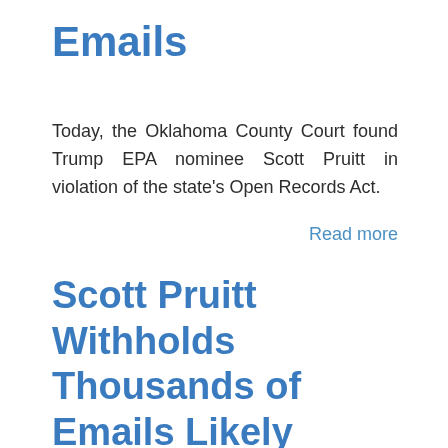Emails
Today, the Oklahoma County Court found Trump EPA nominee Scott Pruitt in violation of the state's Open Records Act.
Read more
Scott Pruitt Withholds Thousands of Emails Likely Concealing Ties to Fossil Fuel Corporations